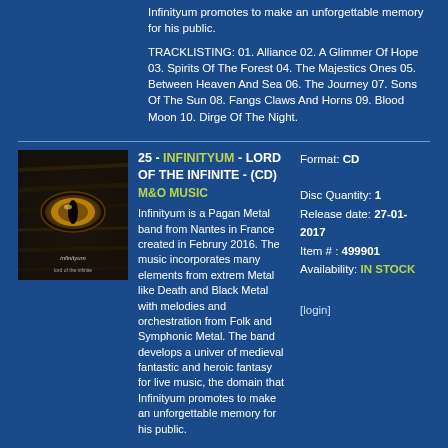Infinityum promotes to make an unforgettable memory for his public.
TRACKLISTING: 01. Alliance 02. A Glimmer Of Hope 03. Spirits Of The Forest 04. The Majestics Ones 05. Between Heaven And Sea 06. The Journey 07. Sons Of The Sun 08. Fangs Claws And Horns 09. Blood Moon 10. Dirge Of The Night.
[Figure (photo): Album cover art for Infinityum - Lord Of The Infinite, showing a dark textured background with a glowing golden eye]
25 - INFINITYUM - LORD OF THE INFINITE - (CD) M&O MUSIC
Infinityum is a Pagan Metal band from Nantes in France created in Februry 2016. The music incorporates many elements from extrem Metal like Death and Black Metal with melodies and orchestration from Folk and Symphonic Metal. The band develops a univer of medieval fantastic and heroic fantasy for live music, the domain that Infinityum promotes to make an unforgettable memory for his public.
TRACKLISTING: 01. The Beginning Of A New Story 02. Once Upon A Legend 03. Ready For The Battle 04. Live To Fight 05. Corrupt Kingdoms
Format: CD
Disc Quantity: 1
Release date: 27-01-2017
Item # : 499901
Availability: IN STOCK
[login]